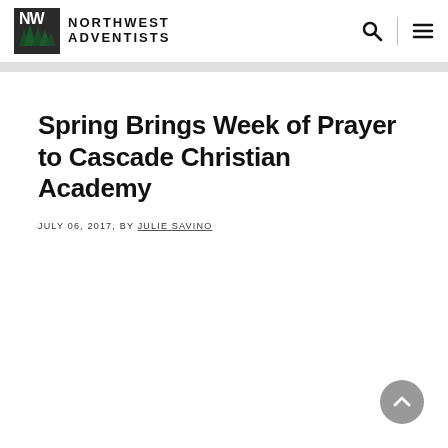NORTHWEST ADVENTISTS
Spring Brings Week of Prayer to Cascade Christian Academy
JULY 06, 2017, BY JULIE SAVINO